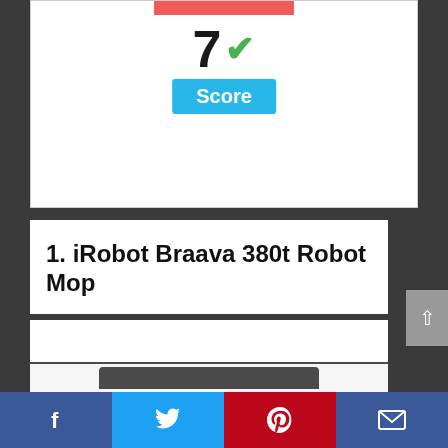[Figure (infographic): Score badge area showing a red bar at top, large '7' with a green checkmark, and a blue 'Score' button]
1. iRobot Braava 380t Robot Mop
[Figure (photo): Partial view of iRobot Braava 380t product image, cropped at bottom of page]
Facebook, Twitter, Pinterest, Email social sharing bar